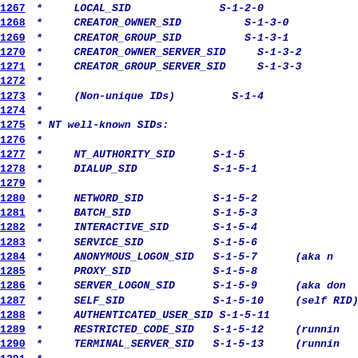1267 *     LOCAL_SID              S-1-2-0
1268 *     CREATOR_OWNER_SID          S-1-3-0
1269 *     CREATOR_GROUP_SID          S-1-3-1
1270 *     CREATOR_OWNER_SERVER_SID     S-1-3-2
1271 *     CREATOR_GROUP_SERVER_SID     S-1-3-3
1272 *
1273 *     (Non-unique IDs)        S-1-4
1274 *
1275 * NT well-known SIDs:
1276 *
1277 *     NT_AUTHORITY_SID      S-1-5
1278 *     DIALUP_SID            S-1-5-1
1279 *
1280 *     NETWORD_SID           S-1-5-2
1281 *     BATCH_SID             S-1-5-3
1282 *     INTERACTIVE_SID       S-1-5-4
1283 *     SERVICE_SID           S-1-5-6
1284 *     ANONYMOUS_LOGON_SID   S-1-5-7      (aka n
1285 *     PROXY_SID             S-1-5-8
1286 *     SERVER_LOGON_SID      S-1-5-9      (aka don
1287 *     SELF_SID              S-1-5-10     (self RID)
1288 *     AUTHENTICATED_USER_SID S-1-5-11
1289 *     RESTRICTED_CODE_SID   S-1-5-12     (runnin
1290 *     TERMINAL_SERVER_SID   S-1-5-13     (runnin
1291 *